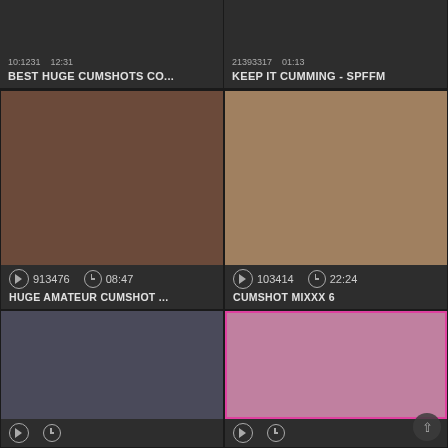BEST HUGE CUMSHOTS CO...
KEEP IT CUMMING - SPFFM
[Figure (screenshot): Video thumbnail - left middle card showing adult content, play icon, 913476 views, 08:47 duration]
HUGE AMATEUR CUMSHOT ...
[Figure (screenshot): Video thumbnail - right middle card showing adult content, play icon, 103414 views, 22:24 duration]
CUMSHOT MIXXX 6
[Figure (screenshot): Video thumbnail - left bottom card showing adult content]
[Figure (screenshot): Video thumbnail - right bottom card showing adult content with pink border]